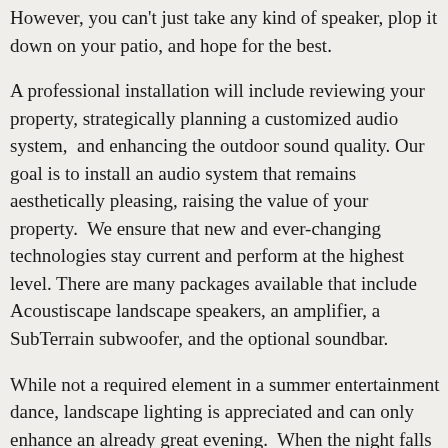However, you can't just take any kind of speaker, plop it down on your patio, and hope for the best.
A professional installation will include reviewing your property, strategically planning a customized audio system,  and enhancing the outdoor sound quality. Our goal is to install an audio system that remains aesthetically pleasing, raising the value of your property.  We ensure that new and ever-changing technologies stay current and perform at the highest level. There are many packages available that include Acoustiscape landscape speakers, an amplifier, a SubTerrain subwoofer, and the optional soundbar.
While not a required element in a summer entertainment dance, landscape lighting is appreciated and can only enhance an already great evening.  When the night falls well placed lighting can really pop and greet your guests. A soft filtered light along a path meets your guests with a sense of welcome or a warmly lit